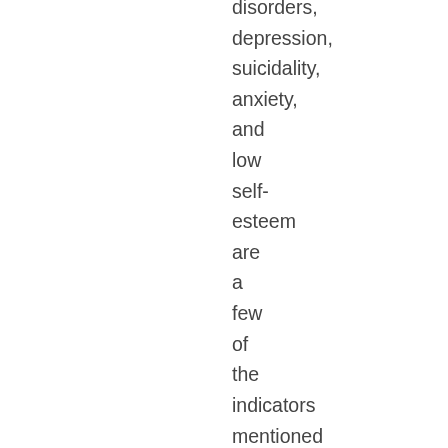disorders, depression, suicidality, anxiety, and low self-esteem are a few of the indicators mentioned in passing. In summary, this little 240-odd-page